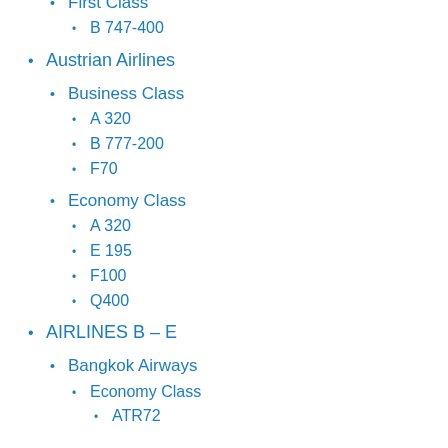First Class
B 747-400
Austrian Airlines
Business Class
A 320
B 777-200
F70
Economy Class
A 320
E 195
F100
Q400
AIRLINES B – E
Bangkok Airways
Economy Class
ATR72